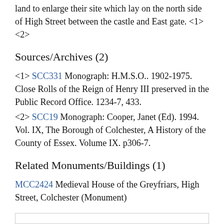land to enlarge their site which lay on the north side of High Street between the castle and East gate. <1><2>
Sources/Archives (2)
<1> SCC331 Monograph: H.M.S.O.. 1902-1975. Close Rolls of the Reign of Henry III preserved in the Public Record Office. 1234-7, 433.
<2> SCC19 Monograph: Cooper, Janet (Ed). 1994. Vol. IX, The Borough of Colchester, A History of the County of Essex. Volume IX. p306-7.
Related Monuments/Buildings (1)
MCC2424 Medieval House of the Greyfriars, High Street, Colchester (Monument)
Record last edited
Feb 9 2016 1:13PM